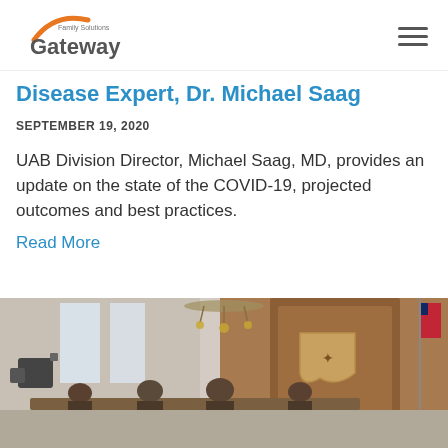Gateway Family Solutions
Disease Expert, Dr. Michael Saag
SEPTEMBER 19, 2020
UAB Division Director, Michael Saag, MD, provides an update on the state of the COVID-19, projected outcomes and best practices.
Read More
[Figure (photo): Photo of a formal meeting room with chandelier, officials seated at a table, a wooden paneled wall with a crest/shield emblem, camera equipment visible on left, flags visible on right.]